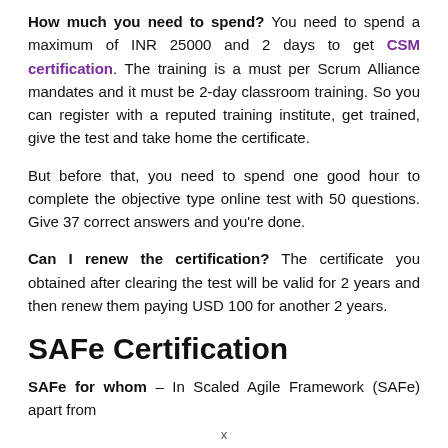How much you need to spend? You need to spend a maximum of INR 25000 and 2 days to get CSM certification. The training is a must per Scrum Alliance mandates and it must be 2-day classroom training. So you can register with a reputed training institute, get trained, give the test and take home the certificate.
But before that, you need to spend one good hour to complete the objective type online test with 50 questions. Give 37 correct answers and you're done.
Can I renew the certification? The certificate you obtained after clearing the test will be valid for 2 years and then renew them paying USD 100 for another 2 years.
SAFe Certification
SAFe for whom – In Scaled Agile Framework (SAFe) apart from